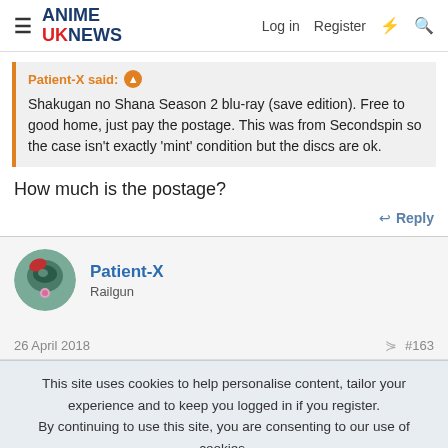ANIME UK NEWS — Log in  Register
Patient-X said: Shakugan no Shana Season 2 blu-ray (save edition). Free to good home, just pay the postage. This was from Secondspin so the case isn't exactly 'mint' condition but the discs are ok.
How much is the postage?
↩ Reply
Patient-X
Railgun
26 April 2018   #163
This site uses cookies to help personalise content, tailor your experience and to keep you logged in if you register.
By continuing to use this site, you are consenting to our use of cookies.
Accept  Learn more...